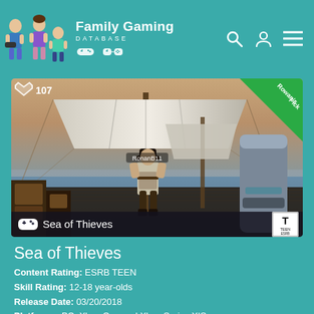Family Gaming Database
[Figure (screenshot): Family Gaming Database website screenshot showing Sea of Thieves game page. Header with logo (cartoon family figures and controller icons), search, user, and menu icons. Main image shows a pirate ship scene from Sea of Thieves with a character at the helm, heart UI element showing 107 likes, Rowan's Pick green ribbon in top-right corner, game title bar with controller icon and ESRB Teen rating box at bottom.]
Sea of Thieves
Content Rating: ESRB TEEN
Skill Rating: 12-18 year-olds
Release Date: 03/20/2018
Platforms: PC, Xbox One and Xbox Series X|S